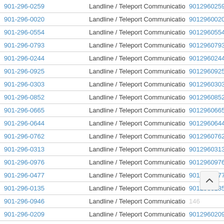| Phone | Type | Digits |
| --- | --- | --- |
| 901-296-0259 | Landline / Teleport Communications America | 9012960259 |
| 901-296-0020 | Landline / Teleport Communications America | 9012960020 |
| 901-296-0554 | Landline / Teleport Communications America | 9012960554 |
| 901-296-0793 | Landline / Teleport Communications America | 9012960793 |
| 901-296-0244 | Landline / Teleport Communications America | 9012960244 |
| 901-296-0925 | Landline / Teleport Communications America | 9012960925 |
| 901-296-0303 | Landline / Teleport Communications America | 9012960303 |
| 901-296-0852 | Landline / Teleport Communications America | 9012960852 |
| 901-296-0665 | Landline / Teleport Communications America | 9012960665 |
| 901-296-0644 | Landline / Teleport Communications America | 9012960644 |
| 901-296-0762 | Landline / Teleport Communications America | 9012960762 |
| 901-296-0313 | Landline / Teleport Communications America | 9012960313 |
| 901-296-0976 | Landline / Teleport Communications America | 9012960976 |
| 901-296-0477 | Landline / Teleport Communications America | 9012960477 |
| 901-296-0135 | Landline / Teleport Communications America | 9012960135 |
| 901-296-0946 | Landline / Teleport Communications America | 9012960946 |
| 901-296-0209 | Landline / Teleport Communications America | 9012960209 |
| 901-296-0281 | Landline / Teleport Communications America | 9012960281 |